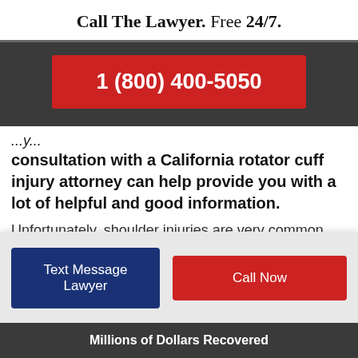Call The Lawyer. Free 24/7.
[Figure (other): Dark grey banner with red call-to-action button showing phone number 1 (800) 400-5050]
...consultation with a California rotator cuff injury attorney can help provide you with a lot of helpful and good information.
Unfortunately, shoulder injuries are very common
[Figure (other): Light grey CTA bar with two buttons: 'Text Message Lawyer' (dark blue) and 'Call Now' (red)]
Millions of Dollars Recovered